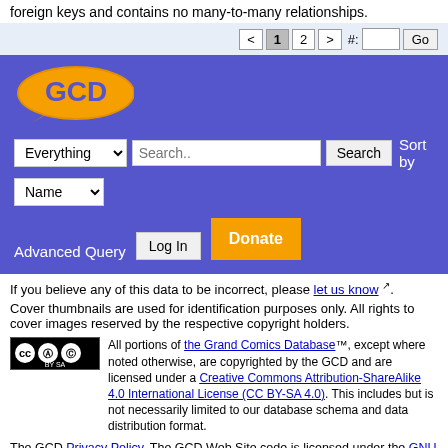foreign keys and contains no many-to-many relationships.
[Figure (screenshot): Pagination bar with < 1 2 > #: [input] Go buttons on light blue background]
[Figure (screenshot): GCD (Grand Comics Database) website header with logo, search bar with Everything dropdown, Search button, Sort by Name dropdown, Advanced Query link, Log In button, and Donate button on purple/blue background]
If you believe any of this data to be incorrect, please let us know.
Cover thumbnails are used for identification purposes only. All rights to cover images reserved by the respective copyright holders.
All portions of the Grand Comics Database™, except where noted otherwise, are copyrighted by the GCD and are licensed under a Creative Commons Attribution-ShareAlike 4.0 International License (CC BY-SA 4.0). This includes but is not necessarily limited to our database schema and data distribution format.
The GCD Privacy Policy. The GCD Web Site code is licensed under the GNU General Public License.